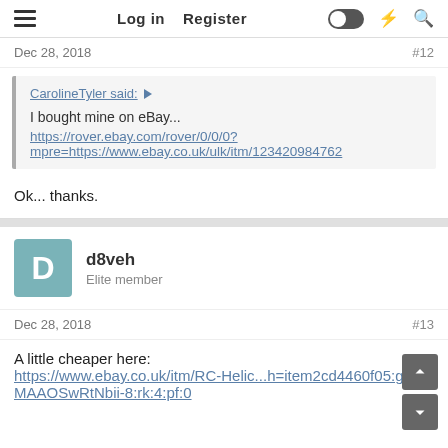Log in  Register
Dec 28, 2018  #12
CarolineTyler said: ↑
I bought mine on eBay...
https://rover.ebay.com/rover/0/0/0?
mpre=https://www.ebay.co.uk/ulk/itm/123420984762
Ok... thanks.
d8veh
Elite member
Dec 28, 2018  #13
A little cheaper here:
https://www.ebay.co.uk/itm/RC-Helic...h=item2cd4460f05:g:RCMAAOSwRtNbii-8:rk:4:pf:0